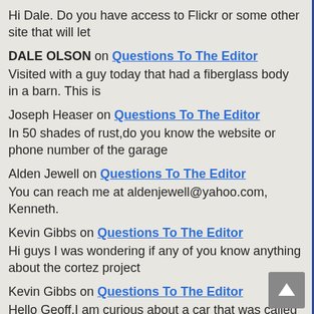Hi Dale. Do you have access to Flickr or some other site that will let
DALE OLSON on Questions To The Editor
Visited with a guy today that had a fiberglass body in a barn. This is
Joseph Heaser on Questions To The Editor
In 50 shades of rust,do you know the website or phone number of the garage
Alden Jewell on Questions To The Editor
You can reach me at aldenjewell@yahoo.com, Kenneth.
Kevin Gibbs on Questions To The Editor
Hi guys I was wondering if any of you know anything about the cortez project
Kevin Gibbs on Questions To The Editor
Hello Geoff,I am curious about a car that was called the geni car built in
Kevin Gibbs on Questions To The Editor
Geoff,have you ever heard of a car known as the Geni ,from what I,ve heard
Kenneth Andrén on Questions To The Editor